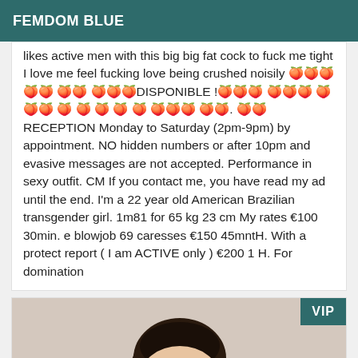FEMDOM BLUE
likes active men with this big big fat cock to fuck me tight I love me feel fucking love being crushed noisily 🍑🍑🍑 🍑🍑 🍑🍑 🍑🍑🍑DISPONIBLE !🍑🍑🍑 🍑🍑🍑 🍑🍑🍑 🍑 🍑 🍑 🍑 🍑 🍑🍑🍑 🍑🍑. 🍑🍑 RECEPTION Monday to Saturday (2pm-9pm) by appointment. NO hidden numbers or after 10pm and evasive messages are not accepted. Performance in sexy outfit. CM If you contact me, you have read my ad until the end. I'm a 22 year old American Brazilian transgender girl. 1m81 for 65 kg 23 cm My rates €100 30min. e blowjob 69 caresses €150 45mntH. With a protect report ( I am ACTIVE only ) €200 1 H. For domination
[Figure (photo): Photo of a person with dark hair taking a selfie with a phone, VIP badge in top right corner]